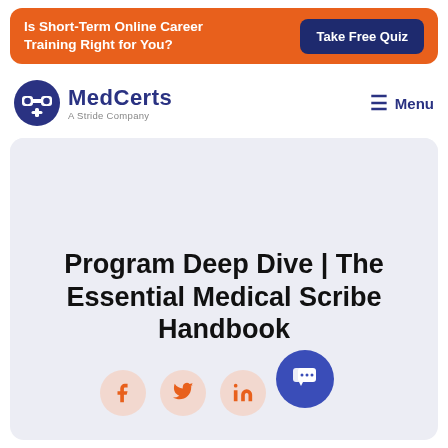[Figure (infographic): Orange banner ad with text 'Is Short-Term Online Career Training Right for You?' and a dark blue 'Take Free Quiz' button]
[Figure (logo): MedCerts logo: blue icon of person with binoculars and a plus sign, with 'MedCerts' in bold blue text and 'A Stride Company' subtitle]
Menu
Program Deep Dive | The Essential Medical Scribe Handbook
[Figure (infographic): Social share icons: Facebook, Twitter, LinkedIn circles in light orange, and a blue chat button]